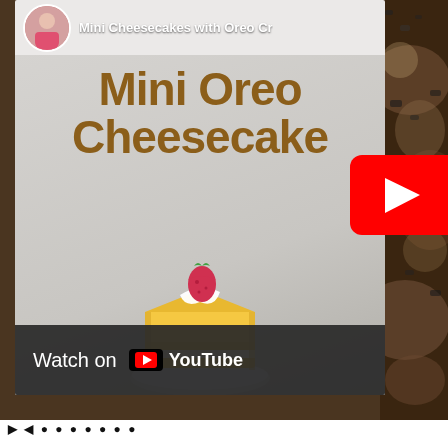[Figure (screenshot): YouTube video thumbnail embed showing 'Mini Oreo Cheesecake' with a cake emoji, a 'Watch on YouTube' bar at the bottom, and a red YouTube play button on the right. The top shows the channel header with avatar and title 'Mini Cheesecakes with Oreo Cr...'. The background on the right side shows a photo of cheesecake.]